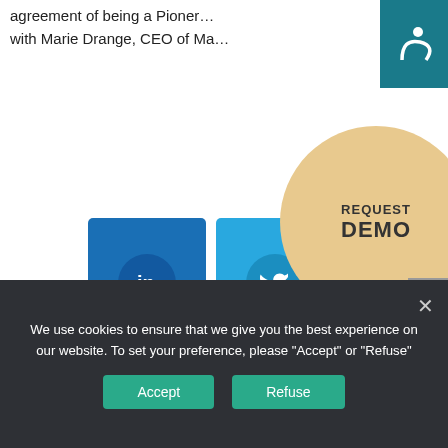agreement of being a Pioneer... with Marie Drange, CEO of Ma...
[Figure (screenshot): Social share buttons for LinkedIn (0), Twitter (0), Facebook (0), and Email (0)]
[Figure (infographic): Request Demo circular button and scroll-to-top arrow button]
We use cookies to ensure that we give you the best experience on our website. To set your preference, please "Accept" or "Refuse"